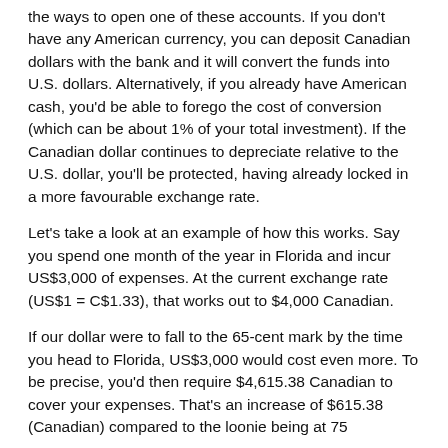the ways to open one of these accounts. If you don't have any American currency, you can deposit Canadian dollars with the bank and it will convert the funds into U.S. dollars. Alternatively, if you already have American cash, you'd be able to forego the cost of conversion (which can be about 1% of your total investment). If the Canadian dollar continues to depreciate relative to the U.S. dollar, you'll be protected, having already locked in a more favourable exchange rate.
Let's take a look at an example of how this works. Say you spend one month of the year in Florida and incur US$3,000 of expenses. At the current exchange rate (US$1 = C$1.33), that works out to $4,000 Canadian.
If our dollar were to fall to the 65-cent mark by the time you head to Florida, US$3,000 would cost even more. To be precise, you'd then require $4,615.38 Canadian to cover your expenses. That's an increase of $615.38 (Canadian) compared to the loonie being at 75...